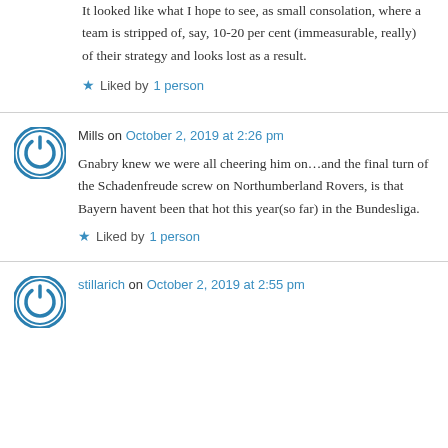It looked like what I hope to see, as small consolation, where a team is stripped of, say, 10-20 per cent (immeasurable, really) of their strategy and looks lost as a result.
Liked by 1 person
Mills on October 2, 2019 at 2:26 pm
Gnabry knew we were all cheering him on…and the final turn of the Schadenfreude screw on Northumberland Rovers, is that Bayern havent been that hot this year(so far) in the Bundesliga.
Liked by 1 person
stillarich on October 2, 2019 at 2:55 pm